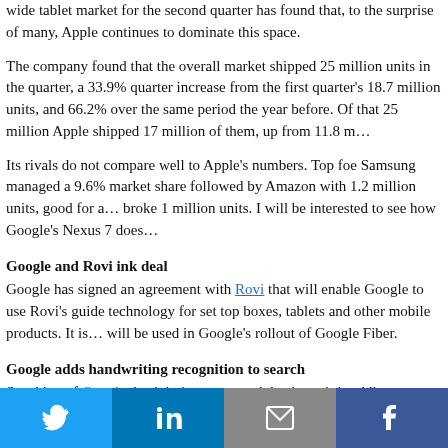wide tablet market for the second quarter has found that, to the surprise of many, Apple continues to dominate this space.
The company found that the overall market shipped 25 million units in the quarter, a 33.9% quarter increase from the first quarter's 18.7 million units, and 66.2% over the same period the year before. Of that 25 million Apple shipped 17 million of them, up from 11.8 m…
Its rivals do not compare well to Apple's numbers. Top foe Samsung managed a 9.6% market share followed by Amazon with 1.2 million units, good for a… broke 1 million units. I will be interested to see how Google's Nexus 7 does…
Google and Rovi ink deal
Google has signed an agreement with Rovi that will enable Google to use Rovi's guide technology for set top boxes, tablets and other mobile products. It is… will be used in Google's rollout of Google Fiber.
Google adds handwriting recognition to search
Speaking of Google, back in its core search business it is adding a new feature: handwriting recognition. The technology will first roll out for Android smartp… move over to Apple's iOS platform as well. It will have support for 27 differe…
AT&T to shut down 2G in 5 years